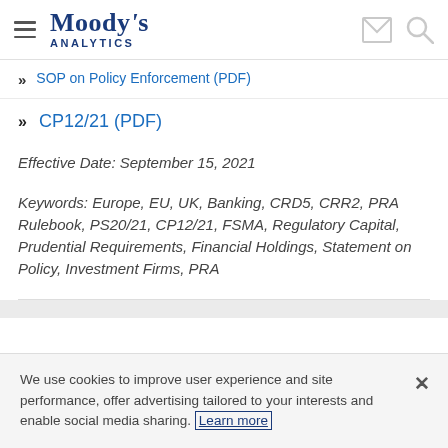Moody's Analytics
SOP on Policy Enforcement (PDF)
CP12/21 (PDF)
Effective Date: September 15, 2021
Keywords: Europe, EU, UK, Banking, CRD5, CRR2, PRA Rulebook, PS20/21, CP12/21, FSMA, Regulatory Capital, Prudential Requirements, Financial Holdings, Statement on Policy, Investment Firms, PRA
We use cookies to improve user experience and site performance, offer advertising tailored to your interests and enable social media sharing. Learn more